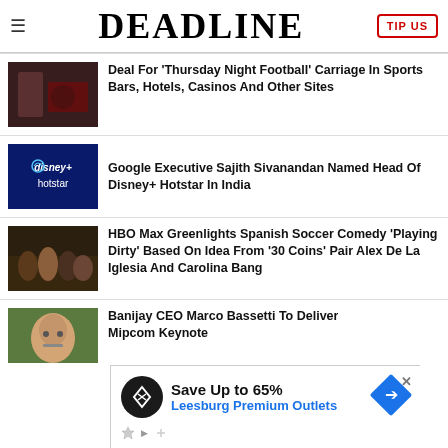DEADLINE
Deal For 'Thursday Night Football' Carriage In Sports Bars, Hotels, Casinos And Other Sites
[Figure (photo): Dark thumbnail image of a scene]
Google Executive Sajith Sivanandan Named Head Of Disney+ Hotstar In India
[Figure (logo): Disney+ Hotstar logo on dark blue background]
HBO Max Greenlights Spanish Soccer Comedy 'Playing Dirty' Based On Idea From '30 Coins' Pair Alex De La Iglesia And Carolina Bang
[Figure (photo): Group of people posing together]
Banijay CEO Marco Bassetti To Deliver Mipcom Keynote
[Figure (photo): Older man with glasses]
[Figure (other): Advertisement: Save Up to 65% Leesburg Premium Outlets]